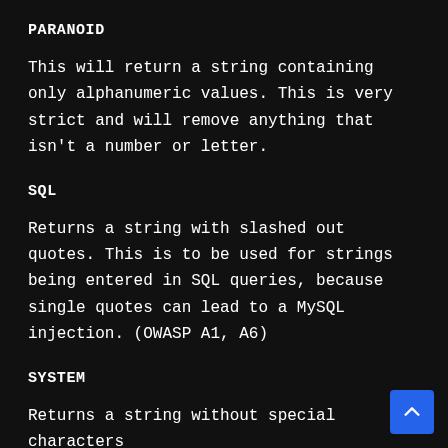PARANOID
This will return a string containing only alphanumeric values. This is very strict and will remove anything that isn't a number or letter.
SQL
Returns a string with slashed out quotes. This is to be used for strings being entered in SQL queries, because single quotes can lead to a MySQL injection. (OWASP A1, A6)
SYSTEM
Returns a string without special characters